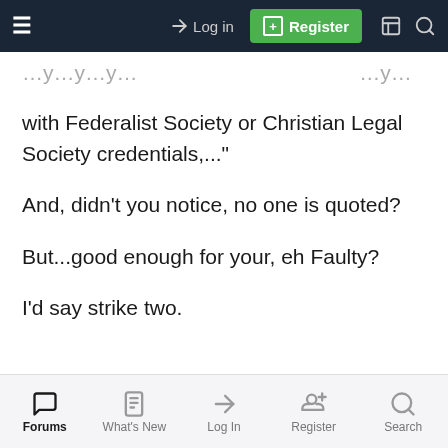≡   →) Log in   [+] Register   🗎   🔍
...y...y...y...  with Federalist Society or Christian Legal Society credentials,..."
And, didn't you notice, no one is quoted?
But...good enough for your, eh Faulty?
I'd say strike two.
3. "...the "whites are being oppressed by minority voter fraud" meme..."
You found this where?
Oh...totally made up?
Forums   What's New   Log In   Register   Search